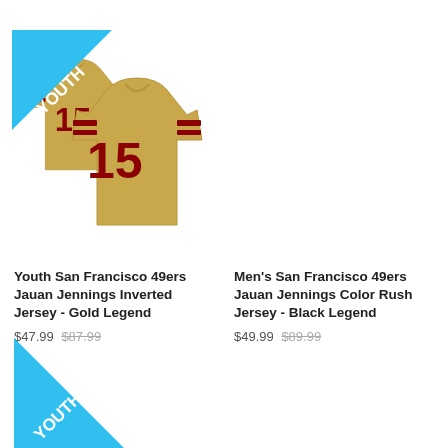[Figure (photo): Two gold San Francisco 49ers football jerseys with number 15, with a cyan YOUTH badge ribbon in the top-left corner]
Youth San Francisco 49ers Jauan Jennings Inverted Jersey - Gold Legend
$47.99 $87.99
Men's San Francisco 49ers Jauan Jennings Color Rush Jersey - Black Legend
$49.99 $89.99
[Figure (photo): Cyan YOUTH badge ribbon at bottom-left corner of page, partial view]